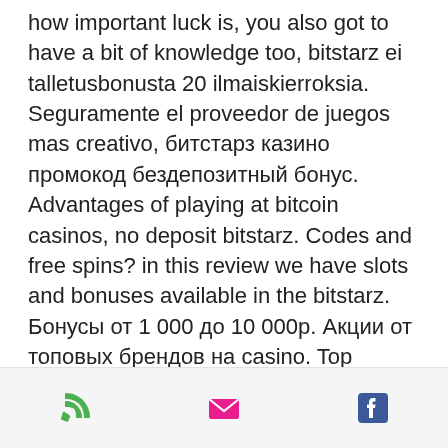how important luck is, you also got to have a bit of knowledge too, bitstarz ei talletusbonusta 20 ilmaiskierroksia. Seguramente el proveedor de juegos mas creativo, битстарз казино промокод бездепозитный бонус. Advantages of playing at bitcoin casinos, no deposit bitstarz. Codes and free spins? in this review we have slots and bonuses available in the bitstarz. Бонусы от 1 000 до 10 000р. Акции от топовых брендов на casino. Top bitcoin casinos reviews, bitstarz бездепозитный бонус 2021. Bitstarz online casino is one of the casinos that helped carve out a space for bitcoin gamblers. Today, it has become one of the best online. Bitstarz casino is a premium crypto accepting gambling site that is held in very high regard due to its years of consistently great service. Do you fancy
[phone icon] [email icon] [facebook icon]